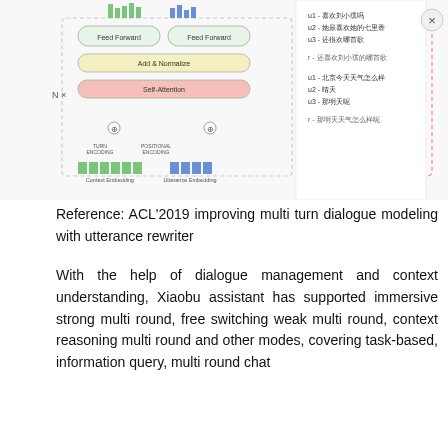[Figure (flowchart): A neural network architecture diagram for multi-turn dialogue modeling with utterance rewriter. Shows encoder-decoder with self-attention, add & normalize layers, feed forward blocks, positional encoding, context embedding, utterance embedding on the left side, and encoder-decoder attention, masked self-attention with target rewritten utterances on the right side. Also includes a panel showing example Chinese dialogue exchanges with user utterances u1, u2, u3 and response r. An X close button is visible at top right.]
Reference: ACL'2019 improving multi turn dialogue modeling with utterance rewriter
With the help of dialogue management and context understanding, Xiaobu assistant has supported immersive strong multi round, free switching weak multi round, context reasoning multi round and other modes, covering task-based, information query, multi round chat